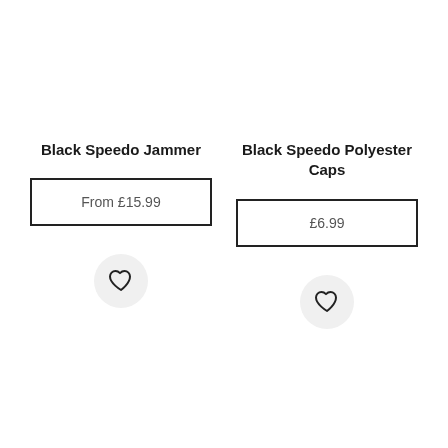Black Speedo Jammer
From £15.99
[Figure (illustration): Heart/wishlist icon button in a circular light grey background]
Black Speedo Polyester Caps
£6.99
[Figure (illustration): Heart/wishlist icon button in a circular light grey background]